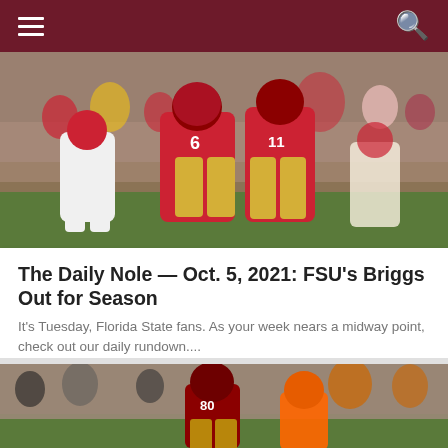Navigation header with hamburger menu and search icon
[Figure (photo): Two FSU football players in garnet and gold uniforms, numbers 6 and 11, walking on field during a game with fans and other players in background]
The Daily Nole — Oct. 5, 2021: FSU's Briggs Out for Season
It's Tuesday, Florida State fans. As your week nears a midway point, check out our daily rundown....
[Figure (photo): FSU football player in garnet uniform, number 80, on field during a game with opponents in orange uniforms and crowd in background]